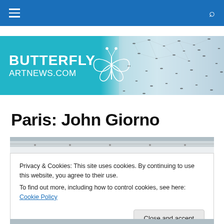Navigation bar with hamburger menu and search icon
[Figure (logo): Butterfly ArtNews.com banner with logo text and butterfly illustration on teal/blue gradient background with abstract bird/insect photo on right]
Paris: John Giorno
[Figure (photo): Partial article image strip showing a gallery interior]
Privacy & Cookies: This site uses cookies. By continuing to use this website, you agree to their use.
To find out more, including how to control cookies, see here: Cookie Policy
Close and accept